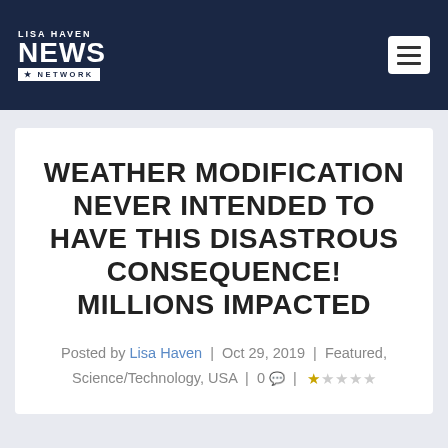LISA HAVEN NEWS NETWORK
WEATHER MODIFICATION NEVER INTENDED TO HAVE THIS DISASTROUS CONSEQUENCE! MILLIONS IMPACTED
Posted by Lisa Haven | Oct 29, 2019 | Featured, Science/Technology, USA | 0 💬 | ★☆☆☆☆